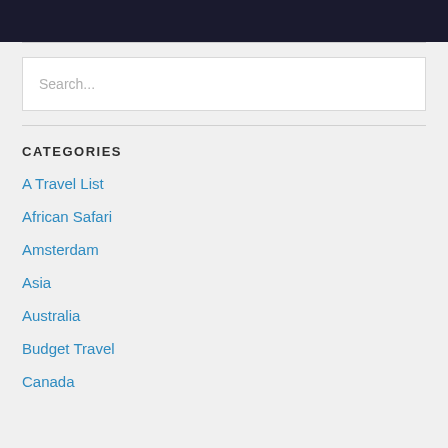[Figure (photo): Dark/night scene image strip at the top of the page]
Search...
CATEGORIES
A Travel List
African Safari
Amsterdam
Asia
Australia
Budget Travel
Canada